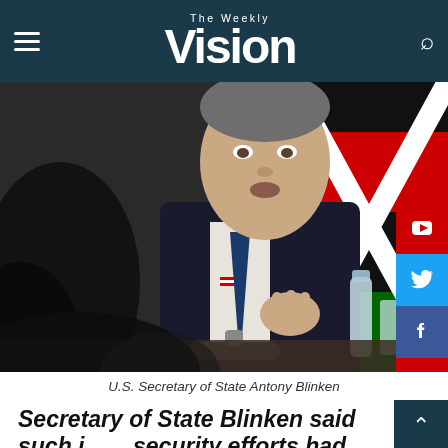The Weekly Vision
[Figure (photo): U.S. Secretary of State Antony Blinken seated at a table, gesturing with his hand, wearing a dark suit with an American flag pin, with colorful flags in the background]
U.S. Secretary of State Antony Blinken
Secretary of State Blinken said such joint security efforts had worked well in the